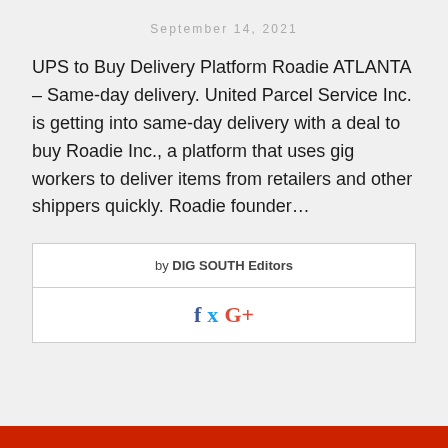September 14, 2021
UPS to Buy Delivery Platform Roadie ATLANTA – Same-day delivery. United Parcel Service Inc. is getting into same-day delivery with a deal to buy Roadie Inc., a platform that uses gig workers to deliver items from retailers and other shippers quickly. Roadie founder...
by DIG SOUTH Editors
[Figure (infographic): Social sharing icons: Facebook (f), Twitter (bird), Google+ (G+), Pinterest (P) in a white bordered box]